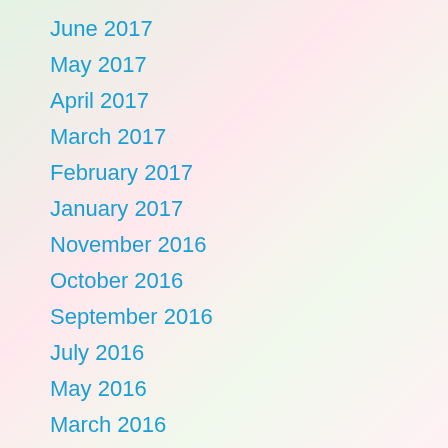June 2017
May 2017
April 2017
March 2017
February 2017
January 2017
November 2016
October 2016
September 2016
July 2016
May 2016
March 2016
February 2016
January 2016